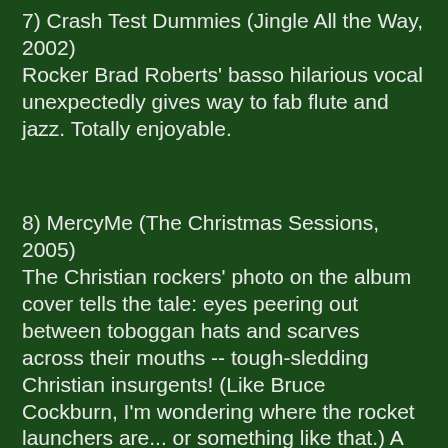7) Crash Test Dummies (Jingle All the Way, 2002) Rocker Brad Roberts' basso hilarious vocal unexpectedly gives way to fab flute and jazz. Totally enjoyable.
8) MercyMe (The Christmas Sessions, 2005) The Christian rockers' photo on the album cover tells the tale: eyes peering out between toboggan hats and scarves across their mouths -- tough-sledding Christian insurgents! (Like Bruce Cockburn, I'm wondering where the rocket launchers are... or something like that.) A bonafide over-the-top warchestra with pulverizing drums, a choir and frighteningly earnest singing. Music to smite Shiites (Sunni or later) and steal hydrocarbons by. We (USA) rock -- you (world) roll (over).